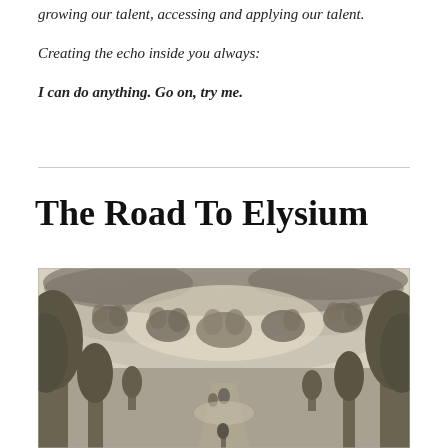growing our talent, accessing and applying our talent.
Creating the echo inside you always:
I can do anything. Go on, try me.
The Road To Elysium
[Figure (illustration): Classical engraving showing figures in clouds above a landscape with trees, depicting a mythological scene related to Elysium]